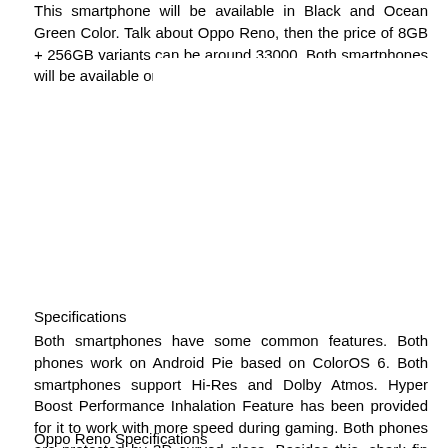This smartphone will be available in Black and Ocean Green Color. Talk about Oppo Reno, then the price of 8GB + 256GB variants can be around 33000. Both smartphones will be available on Flipkart from June 7.
[Figure (photo): Image placeholder area (white/blank)]
Specifications
Both smartphones have some common features. Both phones work on Android Pie based on ColorOS 6. Both smartphones support Hi-Res and Dolby Atmos. Hyper Boost Performance Inhalation Feature has been provided for it to work with more speed during gaming. Both phones are protected by 3D curved glass. Besides this, shark fin side swing pop up selfie camera has been given.
Oppo Reno Specifications